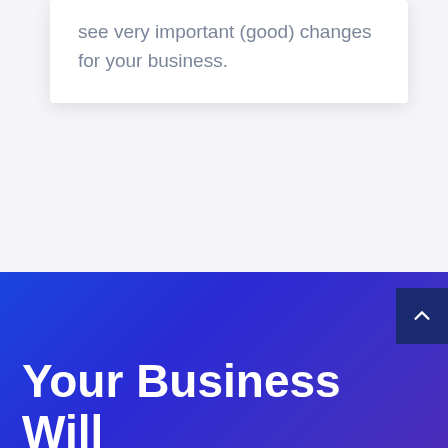see very important (good) changes for your business.
[Figure (other): Scroll-to-top button (dark navy, chevron up arrow) in the bottom-right corner of the blue gradient footer section]
Your Business Will Sell More